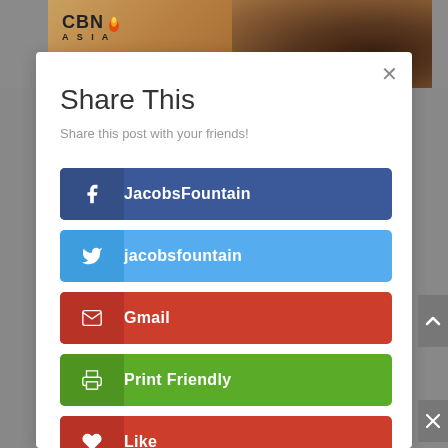[Figure (screenshot): CBN Asia website screenshot showing a 'Share This' modal dialog with social sharing buttons including JacobsFountain (Facebook), jacobsfountain (Twitter), Gmail, Print Friendly, and Like]
Share This
Share this post with your friends!
f  JacobsFountain
jacobsfountain
Gmail
Print Friendly
Like